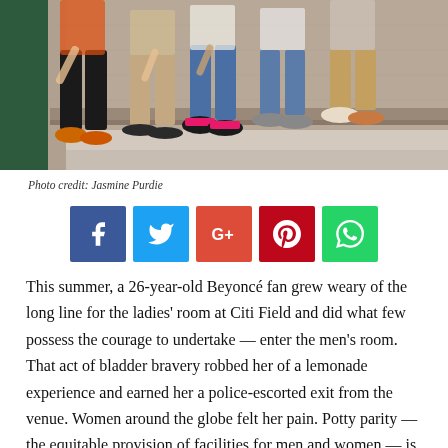[Figure (photo): Group of women sitting against a wall, showing their legs and shoes from the waist down. Various shoes visible including sneakers, sandals, and flats.]
Photo credit: Jasmine Purdie
[Figure (infographic): Row of five social media share buttons: Facebook (blue), Twitter (light blue), Google+ (red-orange), Pinterest (red), WhatsApp (green)]
This summer, a 26-year-old Beyoncé fan grew weary of the long line for the ladies' room at Citi Field and did what few possess the courage to undertake — enter the men's room. That act of bladder bravery robbed her of a lemonade experience and earned her a police-escorted exit from the venue. Women around the globe felt her pain. Potty parity — the equitable provision of facilities for men and women — is a